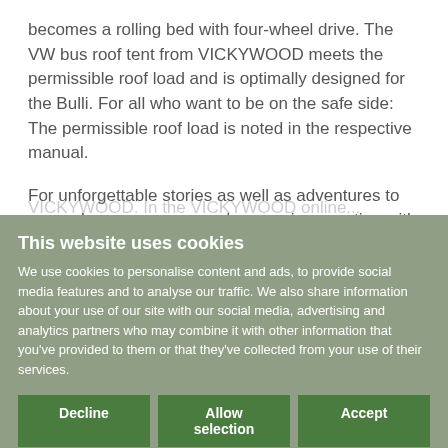becomes a rolling bed with four-wheel drive. The VW bus roof tent from VICKYWOOD meets the permissible roof load and is optimally designed for the Bulli. For all who want to be on the safe side: The permissible roof load is noted in the respective manual.
For unforgettable stories as well as adventures to remember, we recommend a camping vacation with Bulli and the matching roof tent from VICKYWOOD. In the VICKYWOOD online...
This website uses cookies
We use cookies to personalise content and ads, to provide social media features and to analyse our traffic. We also share information about your use of our site with our social media, advertising and analytics partners who may combine it with other information that you've provided to them or that they've collected from your use of their services.
Decline | Allow selection | Accept
Necessary | Preferences | Statistics | Marketing | Show details